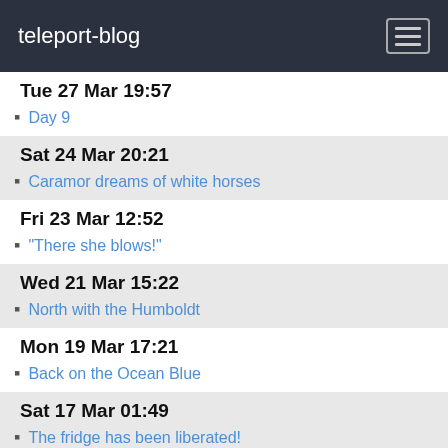teleport-blog
Tue 27 Mar 19:57
Day 9
Sat 24 Mar 20:21
Caramor dreams of white horses
Fri 23 Mar 12:52
"There she blows!"
Wed 21 Mar 15:22
North with the Humboldt
Mon 19 Mar 17:21
Back on the Ocean Blue
Sat 17 Mar 01:49
The fridge has been liberated!
Sun 4 Mar 20:15
Groundhog Day
Jan 2018